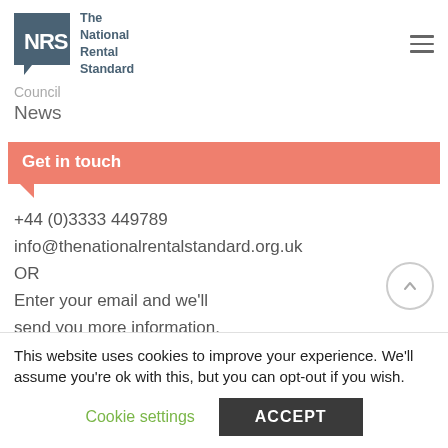[Figure (logo): NRS - The National Rental Standard logo with grey box and text]
Council
News
Get in touch
+44 (0)3333 449789
info@thenationalrentalstandard.org.uk
OR
Enter your email and we'll send you more information.
This website uses cookies to improve your experience. We'll assume you're ok with this, but you can opt-out if you wish.
Cookie settings
ACCEPT